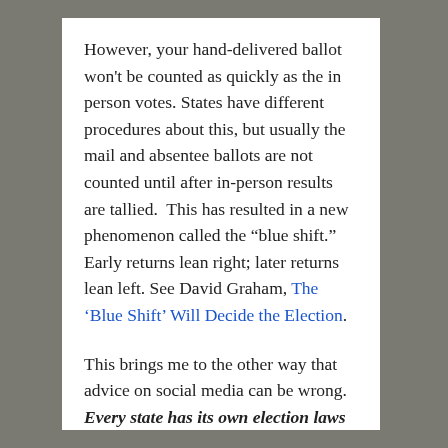However, your hand-delivered ballot won't be counted as quickly as the in person votes. States have different procedures about this, but usually the mail and absentee ballots are not counted until after in-person results are tallied.  This has resulted in a new phenomenon called the “blue shift.” Early returns lean right; later returns lean left. See David Graham, The ‘Blue Shift’ Will Decide the Election.
This brings me to the other way that advice on social media can be wrong. Every state has its own election laws and procedures. If you absolutely must vote by mail, don't assume that what works for your Facebook friend who lives in another state will be true for you. F...